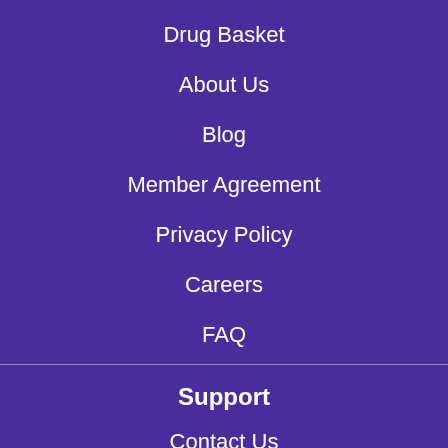Drug Basket
About Us
Blog
Member Agreement
Privacy Policy
Careers
FAQ
Support
Contact Us
24 Hours, 7 Days a Week (Except Major Holidays)